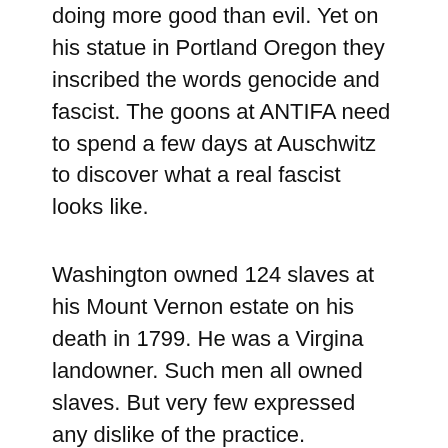doing more good than evil. Yet on his statue in Portland Oregon they inscribed the words genocide and fascist. The goons at ANTIFA need to spend a few days at Auschwitz to discover what a real fascist looks like.
Washington owned 124 slaves at his Mount Vernon estate on his death in 1799. He was a Virgina landowner. Such men all owned slaves. But very few expressed any dislike of the practice. Washington did so and ensured that after his death, by 1801, all were emancipated. He believed that slavery should be abolished gradually. By the standards of his time and place in history if not by today's standards he was an ultra  progessive.
Certainly ownership of 124 slaves does not make him responsible for genocide, unless you are